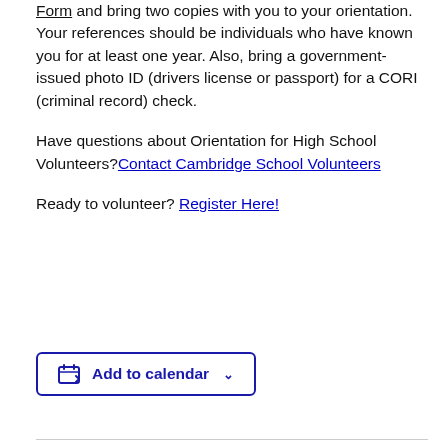Form and bring two copies with you to your orientation. Your references should be individuals who have known you for at least one year. Also, bring a government-issued photo ID (drivers license or passport) for a CORI (criminal record) check.
Have questions about Orientation for High School Volunteers?Contact Cambridge School Volunteers
Ready to volunteer? Register Here!
[Figure (other): Add to calendar button with calendar icon and dropdown arrow]